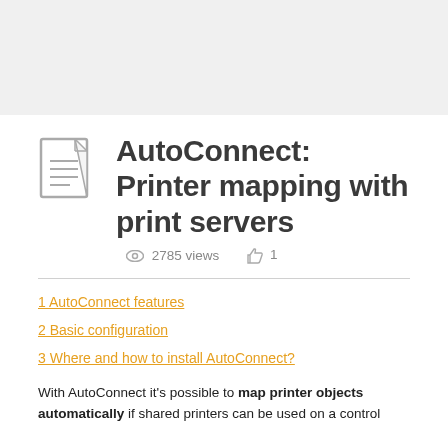[Figure (other): Gray banner/header area at top of page]
AutoConnect: Printer mapping with print servers
2785 views   1
1 AutoConnect features
2 Basic configuration
3 Where and how to install AutoConnect?
With AutoConnect it's possible to map printer objects automatically if shared printers can be used on a control